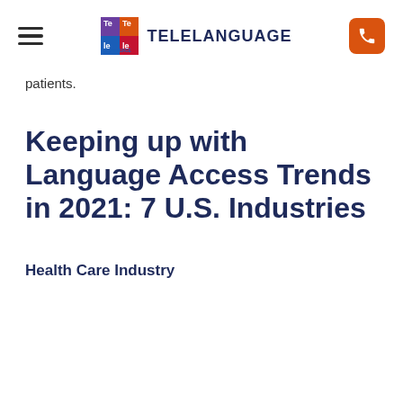TELELANGUAGE
patients.
Keeping up with Language Access Trends in 2021: 7 U.S. Industries
Health Care Industry